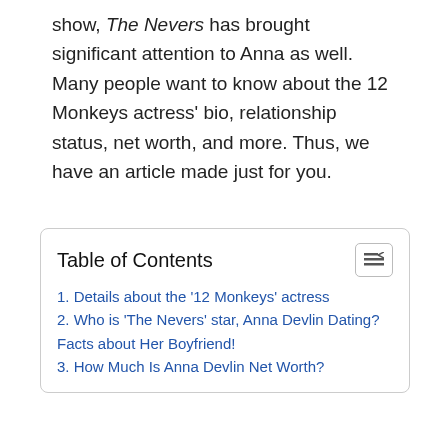show, The Nevers has brought significant attention to Anna as well. Many people want to know about the 12 Monkeys actress' bio, relationship status, net worth, and more. Thus, we have an article made just for you.
| 1. Details about the '12 Monkeys' actress |
| 2. Who is 'The Nevers' star, Anna Devlin Dating? Facts about Her Boyfriend! |
| 3. How Much Is Anna Devlin Net Worth? |
[Figure (illustration): Infolinks advertisement banner: 'KISS BORING LIPS GOODBYE' with a woman's face photo and 'SHOP NOW / macys' button on dark red background]